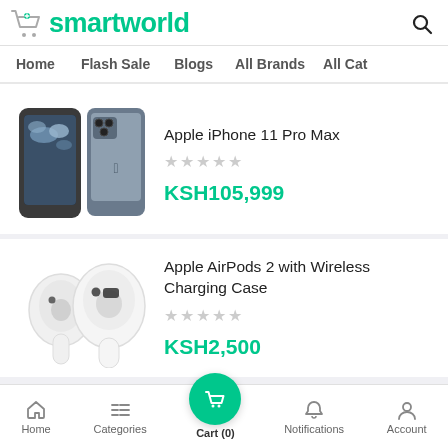smartworld
Home   Flash Sale   Blogs   All Brands   All Cat
[Figure (photo): Apple iPhone 11 Pro Max product image showing two phones back-to-back]
Apple iPhone 11 Pro Max
★★★★★
KSH105,999
[Figure (photo): Apple AirPods 2 with Wireless Charging Case product image showing two earbuds]
Apple AirPods 2 with Wireless Charging Case
★★★★★
KSH2,500
Home   Categories   Cart (0)   Notifications   Account